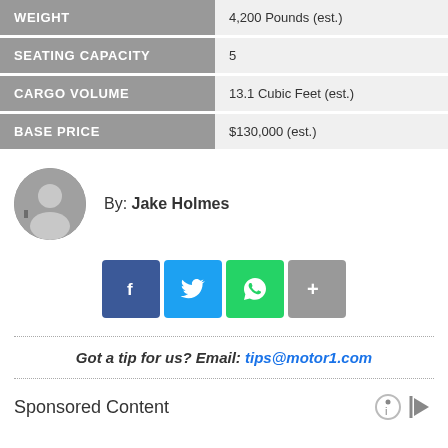|  |  |
| --- | --- |
| WEIGHT | 4,200 Pounds (est.) |
| SEATING CAPACITY | 5 |
| CARGO VOLUME | 13.1 Cubic Feet (est.) |
| BASE PRICE | $130,000 (est.) |
By: Jake Holmes
[Figure (other): Social share buttons: Facebook, Twitter, WhatsApp, More]
Got a tip for us? Email: tips@motor1.com
Sponsored Content